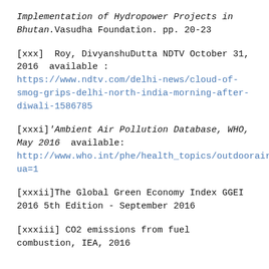Implementation of Hydropower Projects in Bhutan.Vasudha Foundation. pp. 20-23
[xxx]  Roy, DivyanshuDutta NDTV October 31, 2016  available : https://www.ndtv.com/delhi-news/cloud-of-smog-grips-delhi-north-india-morning-after-diwali-1586785
[xxxi]'Ambient Air Pollution Database, WHO, May 2016  available: http://www.who.int/phe/health_topics/outdoorair/data ua=1
[xxxii]The Global Green Economy Index GGEI 2016 5th Edition - September 2016
[xxxiii] CO2 emissions from fuel combustion, IEA, 2016